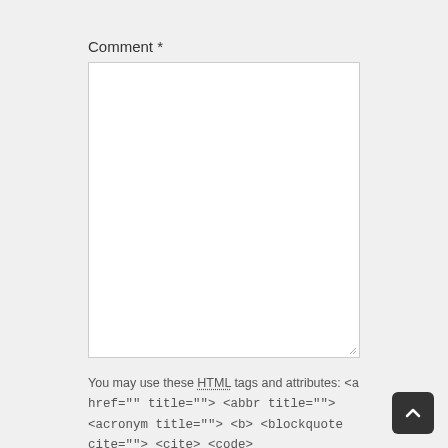Comment *
[Figure (screenshot): Empty comment textarea input box with resize handle at bottom right]
You may use these HTML tags and attributes: <a href="" title=""> <abbr title=""> <acronym title=""> <b> <blockquote cite=""> <cite> <code>